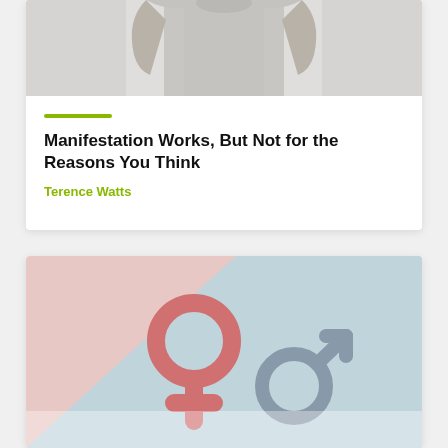[Figure (photo): Photo of a person in a grey t-shirt from the torso down, arms at sides, against a light grey background]
Manifestation Works, But Not for the Reasons You Think
Terence Watts
[Figure (photo): Gender symbols (female in pink, male in blue) arranged on a pink and blue split background]